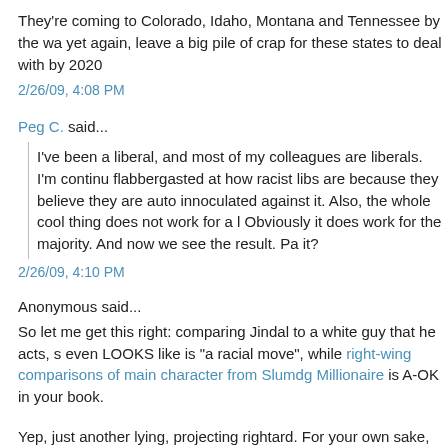They're coming to Colorado, Idaho, Montana and Tennessee by the wa yet again, leave a big pile of crap for these states to deal with by 2020
2/26/09, 4:08 PM
Peg C. said...
I've been a liberal, and most of my colleagues are liberals. I'm continu flabbergasted at how racist libs are because they believe they are auto innoculated against it. Also, the whole cool thing does not work for a l Obviously it does work for the majority. And now we see the result. Pa it?
2/26/09, 4:10 PM
Anonymous said...
So let me get this right: comparing Jindal to a white guy that he acts, s even LOOKS like is "a racial move", while right-wing comparisons of main character from Slumdg Millionaire is A-OK in your book.
Yep, just another lying, projecting rightard. For your own sake, Annie,